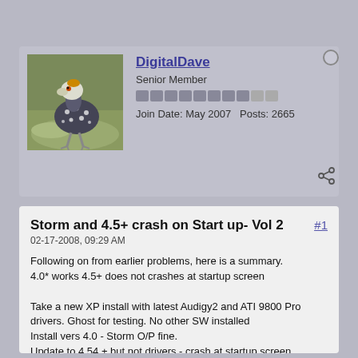[Figure (photo): Avatar photo of a bird (guinea fowl) on grass, used as forum profile picture for user DigitalDave]
DigitalDave
Senior Member
Join Date: May 2007   Posts: 2665
Storm and 4.5+ crash on Start up- Vol 2
02-17-2008, 09:29 AM
Following on from earlier problems, here is a summary.
4.0* works 4.5+ does not crashes at startup screen

Take a new XP install with latest Audigy2 and ATI 9800 Pro drivers. Ghost for testing. No other SW installed
Install vers 4.0 - Storm O/P fine.
Update to 4.54 + but not drivers - crash at startup screen.
Update to 4.54 with drivers - crash at startup screen.
Disable Storm and work via OHCI no problem.

Enable Storm but this time start Edius by double clicking an existing project even a vers3 project - even just a frame of colour bars created in OHCI - this time the Start up screen is by-passed and Storm works fine. Of course if you click "new/project" the crash is induced but restarting Edius from a project folder bypassing the Start-up screen makes it possible to use.